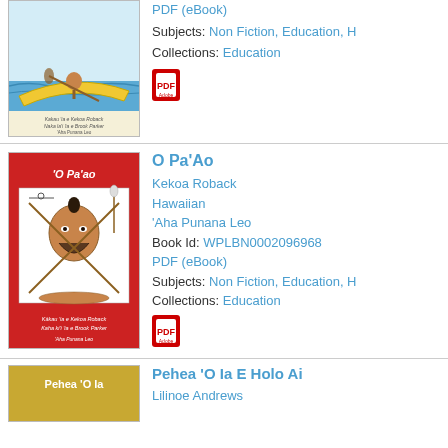[Figure (illustration): Book cover of a Hawaiian canoe paddling book showing a man rowing a yellow canoe on blue water]
PDF (eBook)
Subjects: Non Fiction, Education, H
Collections: Education
[Figure (illustration): PDF icon (red Adobe PDF logo)]
[Figure (illustration): Book cover of 'O Pa'ao with a red background showing a Hawaiian warrior figure with various implements]
O Pa'Ao
Kekoa Roback
Hawaiian
'Aha Punana Leo
Book Id: WPLBN0002096968
PDF (eBook)
Subjects: Non Fiction, Education, H
Collections: Education
[Figure (illustration): PDF icon (red Adobe PDF logo)]
[Figure (illustration): Book cover of 'Pehea O Ia E Holo Ai' with a golden/tan background]
Pehea 'O Ia E Holo Ai
Lilinoe Andrews